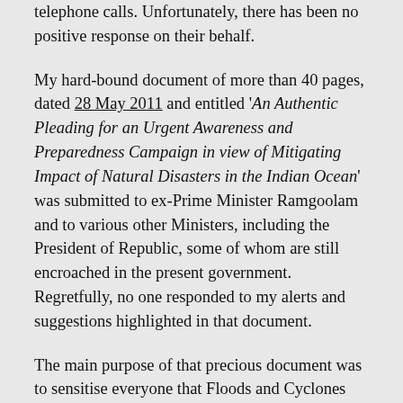telephone calls. Unfortunately, there has been no positive response on their behalf.
My hard-bound document of more than 40 pages, dated 28 May 2011 and entitled 'An Authentic Pleading for an Urgent Awareness and Preparedness Campaign in view of Mitigating Impact of Natural Disasters in the Indian Ocean' was submitted to ex-Prime Minister Ramgoolam and to various other Ministers, including the President of Republic, some of whom are still encroached in the present government. Regretfully, no one responded to my alerts and suggestions highlighted in that document.
The main purpose of that precious document was to sensitise everyone that Floods and Cyclones would strike Mauritius as from January 2013. This was based on my Prediction 2007-2012 wherein I stated that disastrous cyclones would not visit us during that period, but soon afterwards. In fact, Cyclone Dumile visited us on 01 January 2013. Torrential Rain struck